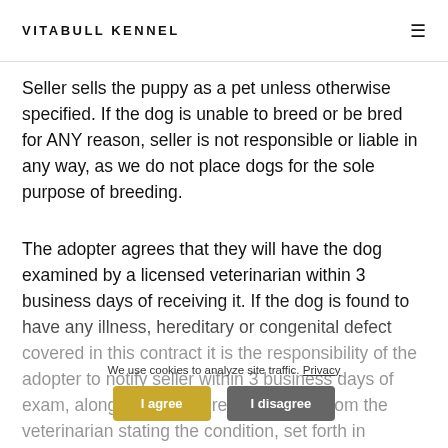VITABULL KENNEL
Seller sells the puppy as a pet unless otherwise specified. If the dog is unable to breed or be bred for ANY reason, seller is not responsible or liable in any way, as we do not place dogs for the sole purpose of breeding.
The adopter agrees that they will have the dog examined by a licensed veterinarian within 3 business days of receiving it. If the dog is found to have any illness, hereditary or congenital defect covered in this contract it is the responsibility of the adopter to notify seller within 3 business days of exam, along with a required document from the veterinarian stating the condition, set forth in separate cover to the seller. This must be done within 72 hours from the appt. Once your puppy receives a clean bill of health please email the seller (puppyguru@gmail.com). The failure of this will
We use cookies to analyze site traffic. Privacy